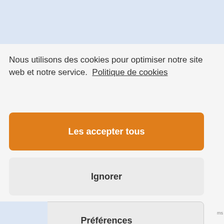Nous utilisons des cookies pour optimiser notre site web et notre service.  Politique de cookies
Les accepter tous
Ignorer
Préférences